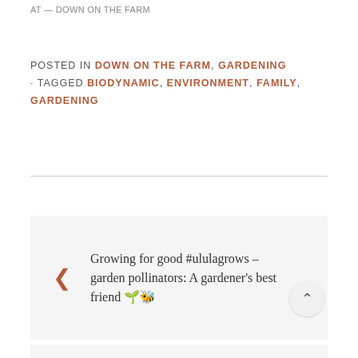AT — DOWN ON THE FARM
POSTED IN DOWN ON THE FARM, GARDENING • TAGGED BIODYNAMIC, ENVIRONMENT, FAMILY, GARDENING
Growing for good #ululagrows – garden pollinators: A gardener's best friend 🌱🐝